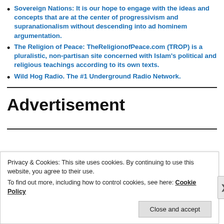Sovereign Nations: It is our hope to engage with the ideas and concepts that are at the center of progressivism and supranationalism without descending into ad hominem argumentation.
The Religion of Peace: TheReligionofPeace.com (TROP) is a pluralistic, non-partisan site concerned with Islam's political and religious teachings according to its own texts.
Wild Hog Radio. The #1 Underground Radio Network.
Advertisement
Privacy & Cookies: This site uses cookies. By continuing to use this website, you agree to their use. To find out more, including how to control cookies, see here: Cookie Policy
Close and accept